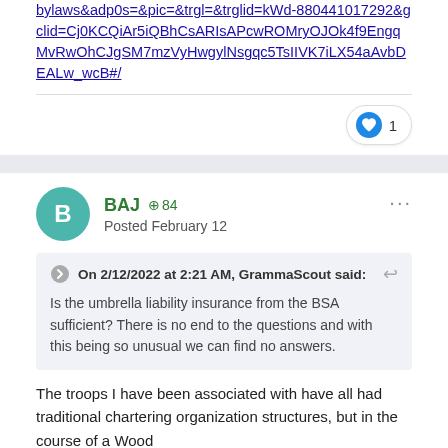bylaws&adp0s=&pic=&trgl=&trglid=kWd-880441017292&gclid=Cj0KCQiAr5iQBhCsARIsAPcwROMryOJOk4f9EngqMvRwOhCJgSM7mzVyHwgylNsgqc5TsIIVK7iLX54aAvbDEALw_wcB#/
[Figure (infographic): Like button pill showing a heart icon and the number 1]
BAJ +84 Posted February 12
On 2/12/2022 at 2:21 AM, GrammaScout said: Is the umbrella liability insurance from the BSA sufficient? There is no end to the questions and with this being so unusual we can find no answers.
The troops I have been associated with have all had traditional chartering organization structures, but in the course of a Wood